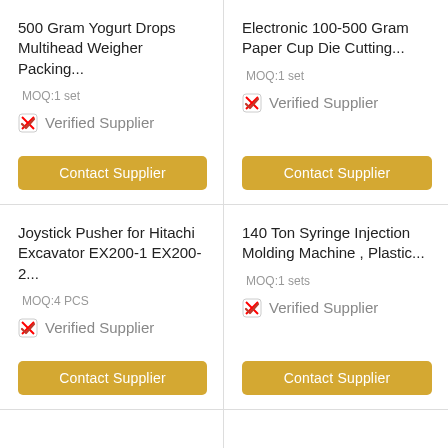500 Gram Yogurt Drops Multihead Weigher Packing...
MOQ:1 set
Verified Supplier
Contact Supplier
Electronic 100-500 Gram Paper Cup Die Cutting...
MOQ:1 set
Verified Supplier
Contact Supplier
Joystick Pusher for Hitachi Excavator EX200-1 EX200-2...
MOQ:4 PCS
Verified Supplier
Contact Supplier
140 Ton Syringe Injection Molding Machine , Plastic...
MOQ:1 sets
Verified Supplier
Contact Supplier